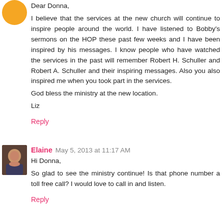Dear Donna,
I believe that the services at the new church will continue to inspire people around the world. I have listened to Bobby's sermons on the HOP these past few weeks and I have been inspired by his messages. I know people who have watched the services in the past will remember Robert H. Schuller and Robert A. Schuller and their inspiring messages. Also you also inspired me when you took part in the services.
God bless the ministry at the new location.
Liz
Reply
Elaine May 5, 2013 at 11:17 AM
Hi Donna,
So glad to see the ministry continue! Is that phone number a toll free call? I would love to call in and listen.
Reply